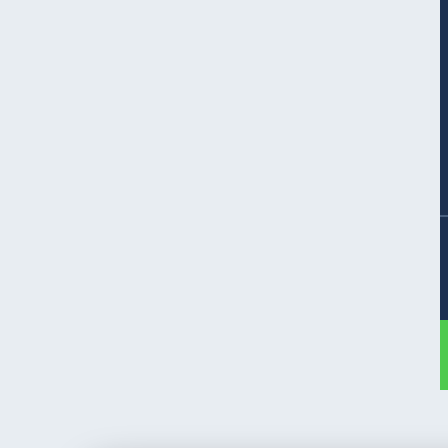[Figure (screenshot): Screenshot of a sports betting website table showing football leagues (ITALY: Serie B, SPAIN: LaLiga 2, SCOTLAND: Championship) with teams (Perugia, Ponferrada, Dunfermline) and a green 'Stake: 10/10 Bet' bar, overlaid with a WhatsApp chat popup widget showing a message 'Hello / How can we help you with fixed matches?' and an 'Open chat' button.]